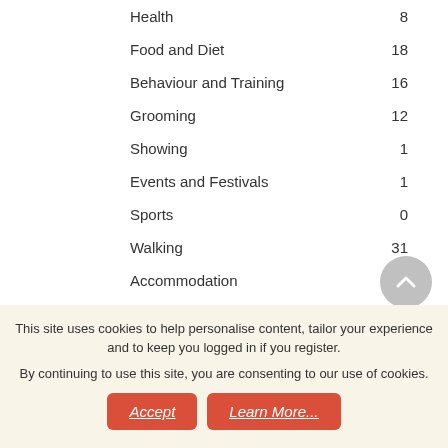Health   8
Food and Diet   18
Behaviour and Training   16
Grooming   12
Showing   1
Events and Festivals   1
Sports   0
Walking   31
Accommodation   138
Restaurants and Pubs   67
Attractions   13
Pet Shops   26
Products   72
Rehoming and Adoption   1
This site uses cookies to help personalise content, tailor your experience and to keep you logged in if you register. By continuing to use this site, you are consenting to our use of cookies.
Accept   Learn More...